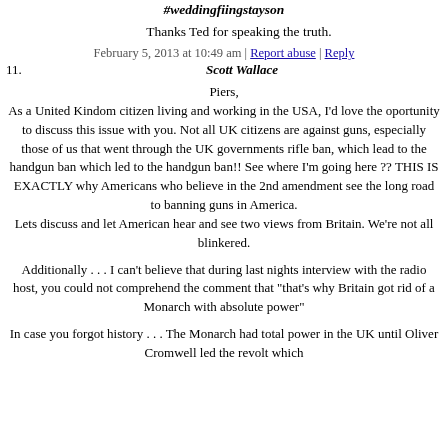#weddingfiingstayson
Thanks Ted for speaking the truth.
February 5, 2013 at 10:49 am | Report abuse | Reply
11. Scott Wallace
Piers,
As a United Kindom citizen living and working in the USA, I'd love the oportunity to discuss this issue with you. Not all UK citizens are against guns, especially those of us that went through the UK governments rifle ban, which lead to the handgun ban which led to the handgun ban!! See where I'm going here ?? THIS IS EXACTLY why Americans who believe in the 2nd amendment see the long road to banning guns in America.
Lets discuss and let American hear and see two views from Britain. We're not all blinkered.
Additionally . . . I can't believe that during last nights interview with the radio host, you could not comprehend the comment that "that's why Britain got rid of a Monarch with absolute power"
In case you forgot history . . . The Monarch had total power in the UK until Oliver Cromwell led the revolt which